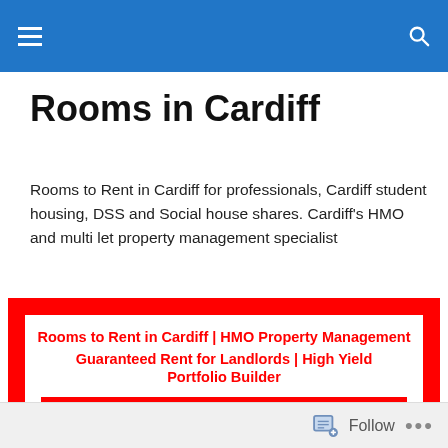Rooms in Cardiff
Rooms to Rent in Cardiff for professionals, Cardiff student housing, DSS and Social house shares. Cardiff's HMO and multi let property management specialist
[Figure (infographic): Red bordered advertisement box with white background. Text: 'Rooms to Rent in Cardiff | HMO Property Management Guaranteed Rent for Landlords | High Yield Portfolio Builder' in red bold text, with a red button showing 'info@RoomsinCardiff.co.uk' in white text.]
Follow ...